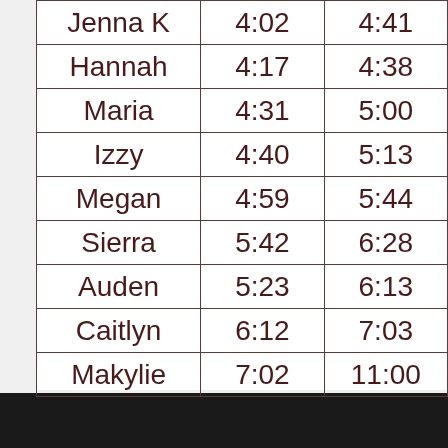| Jenna K | 4:02 | 4:41 |
| Hannah | 4:17 | 4:38 |
| Maria | 4:31 | 5:00 |
| Izzy | 4:40 | 5:13 |
| Megan | 4:59 | 5:44 |
| Sierra | 5:42 | 6:28 |
| Auden | 5:23 | 6:13 |
| Caitlyn | 6:12 | 7:03 |
| Makylie | 7:02 | 11:00 |